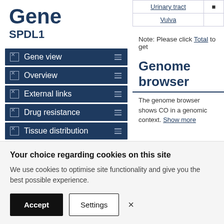Gene SPDL1
Gene view
Overview
External links
Drug resistance
Tissue distribution
Genome browser
Mutation distribution
|  |  |
| --- | --- |
| Urinary tract | ■ |
| Vulva |  |
Note: Please click Total to get
Genome browser
The genome browser shows CO in a genomic context. Show more
Your choice regarding cookies on this site
We use cookies to optimise site functionality and give you the best possible experience.